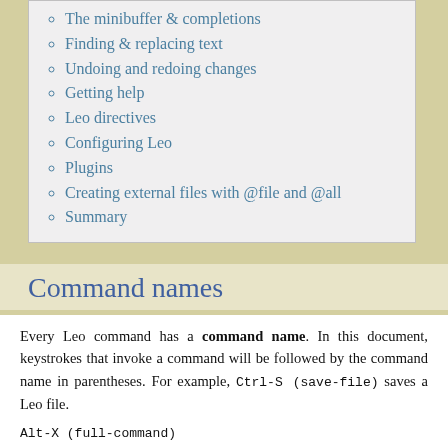The minibuffer & completions
Finding & replacing text
Undoing and redoing changes
Getting help
Leo directives
Configuring Leo
Plugins
Creating external files with @file and @all
Summary
Command names
Every Leo command has a command name. In this document, keystrokes that invoke a command will be followed by the command name in parentheses. For example, Ctrl-S (save-file) saves a Leo file.
Alt-X (full-command)
Executes any other command by typing its full name. For full details see The minibuffer & completions.